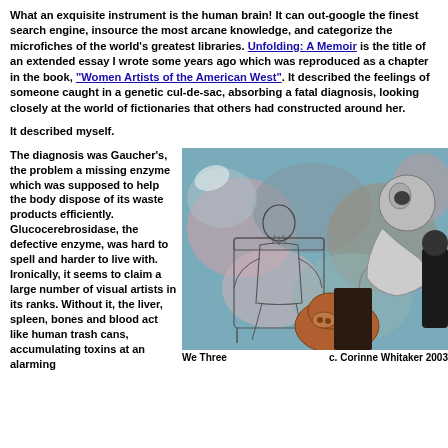What an exquisite instrument is the human brain! It can out-google the finest search engine, insource the most arcane knowledge, and categorize the microfiches of the world's greatest libraries. Unfolding: A Memoir is the title of an extended essay I wrote some years ago which was reproduced as a chapter in the book, "Women Artists of the American West". It described the feelings of someone caught in a genetic cul-de-sac, absorbing a fatal diagnosis, looking closely at the world of fictionaries that others had constructed around her.
It described myself.
The diagnosis was Gaucher's, the problem a missing enzyme which was supposed to help the body dispose of its waste products efficiently. Glucocerebrosidase, the defective enzyme, was hard to spell and harder to live with. Ironically, it seems to claim a large number of visual artists in its ranks. Without it, the liver, spleen, bones and blood act like human trash cans, accumulating toxins at an alarming
[Figure (illustration): A collage illustration titled 'We Three' showing a seated man in a chair (line drawing), overlaid with colorful painted background and two additional figures — a stylized creature upper right and a brown animal (possibly a cow or bull) at bottom center. Caption reads 'We Three' on left and 'c. Corinne Whitaker 2003' on right.]
We Three                    c. Corinne Whitaker 2003